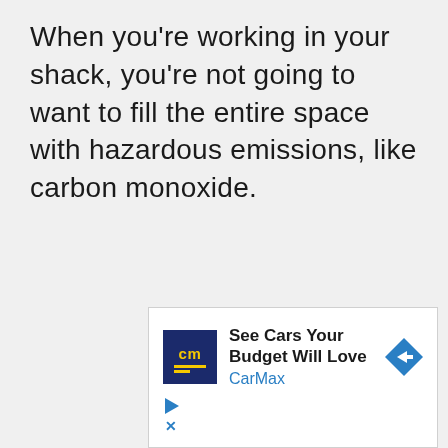When you're working in your shack, you're not going to want to fill the entire space with hazardous emissions, like carbon monoxide.
[Figure (other): CarMax advertisement banner with logo, headline 'See Cars Your Budget Will Love', brand name 'CarMax', a blue diamond arrow icon, and play/close control icons.]